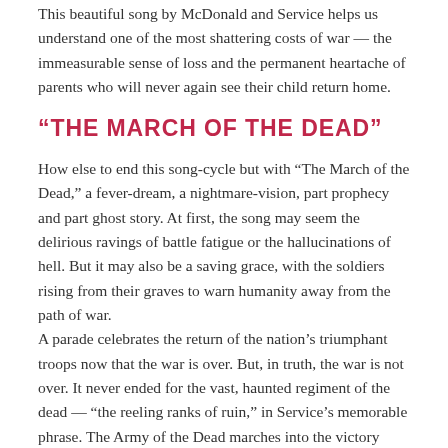This beautiful song by McDonald and Service helps us understand one of the most shattering costs of war — the immeasurable sense of loss and the permanent heartache of parents who will never again see their child return home.
“THE MARCH OF THE DEAD”
How else to end this song-cycle but with “The March of the Dead,” a fever-dream, a nightmare-vision, part prophecy and part ghost story. At first, the song may seem the delirious ravings of battle fatigue or the hallucinations of hell. But it may also be a saving grace, with the soldiers rising from their graves to warn humanity away from the path of war.
A parade celebrates the return of the nation’s triumphant troops now that the war is over. But, in truth, the war is not over. It never ended for the vast, haunted regiment of the dead — “the reeling ranks of ruin,” in Service’s memorable phrase. The Army of the Dead marches into the victory parade, just as they come marching in — unseen and uninvited — to cast a pall over every celebration of war.